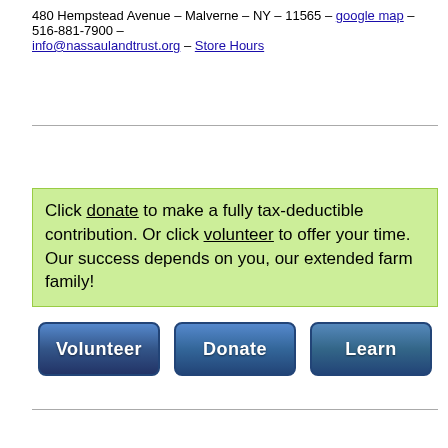480 Hempstead Avenue – Malverne – NY – 11565 – google map – 516-881-7900 –
info@nassaulandtrust.org – Store Hours
Click donate to make a fully tax-deductible contribution. Or click volunteer to offer your time. Our success depends on you, our extended farm family!
[Figure (other): Three blue rounded rectangle buttons labeled Volunteer, Donate, and Learn arranged horizontally]